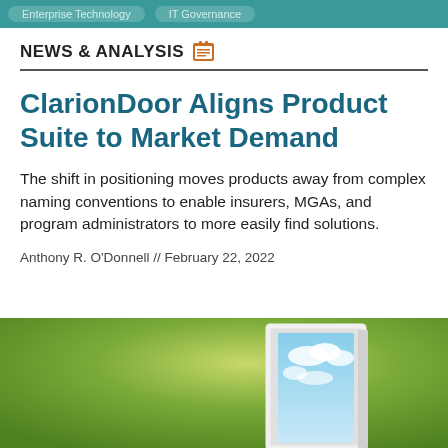Enterprise Technology   IT Governance
NEWS & ANALYSIS
ClarionDoor Aligns Product Suite to Market Demand
The shift in positioning moves products away from complex naming conventions to enable insurers, MGAs, and program administrators to more easily find solutions.
Anthony R. O'Donnell // February 22, 2022
[Figure (illustration): Green gradient background with a white door frame open to reveal a blue sky with clouds, positioned to the center-right of the image]